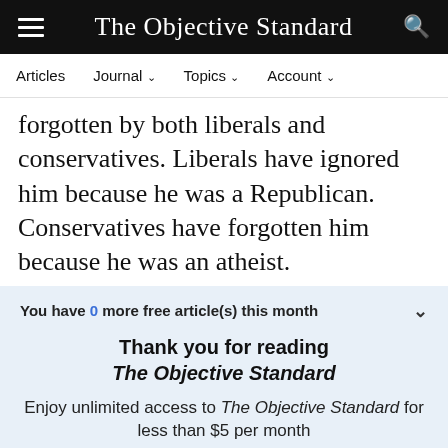The Objective Standard
Articles   Journal   Topics   Account
forgotten by both liberals and conservatives. Liberals have ignored him because he was a Republican. Conservatives have forgotten him because he was an atheist.
You have 0 more free article(s) this month
Thank you for reading The Objective Standard
Enjoy unlimited access to The Objective Standard for less than $5 per month
See Options
Already a subscriber? Log in